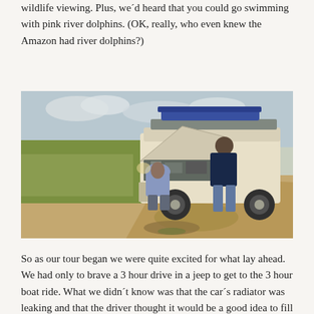wildlife viewing. Plus, we'd heard that you could go swimming with pink river dolphins. (OK, really, who even knew the Amazon had river dolphins?)
[Figure (photo): Two men working on a white Toyota Land Cruiser with hood open on a dirt road in a grassy area, with luggage on the roof rack.]
So as our tour began we were quite excited for what lay ahead. We had only to brave a 3 hour drive in a jeep to get to the 3 hour boat ride. What we didn't know was that the car's radiator was leaking and that the driver thought it would be a good idea to fill it up with the muddy water